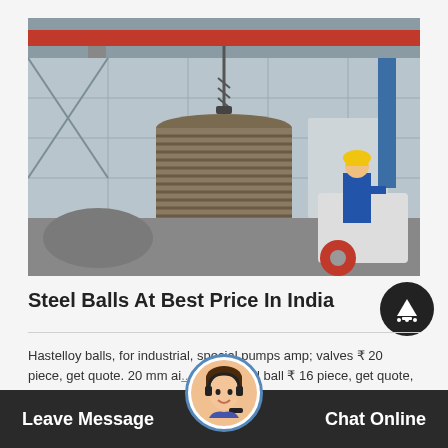[Figure (photo): Industrial factory interior showing a large threaded cylindrical steel component being lifted by a crane/hoist. A worker in blue uniform and yellow hard hat stands in the background. Red overhead crane beam visible. Various heavy machinery and equipment on the shop floor.]
Steel Balls At Best Price In India
Hastelloy balls, for industrial, special pumps amp; valves ₹ 20 piece, get quote. 20 mm ai... inless steel ball ₹ 16 piece, get quote, skates st... 80 kilogram per deliver...
Leave Message | Chat Online